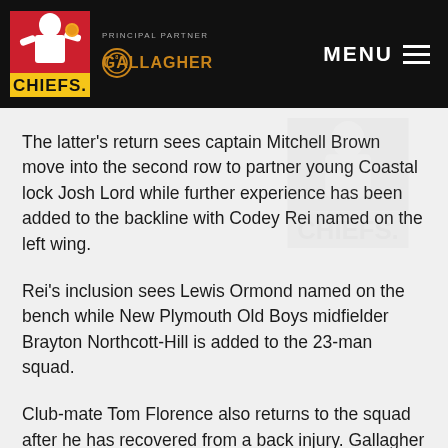CHIEFS | PRINCIPAL PARTNER GALLAGHER | MENU
The latter's return sees captain Mitchell Brown move into the second row to partner young Coastal lock Josh Lord while further experience has been added to the backline with Codey Rei named on the left wing.
Rei's inclusion sees Lewis Ormond named on the bench while New Plymouth Old Boys midfielder Brayton Northcott-Hill is added to the 23-man squad.
Club-mate Tom Florence also returns to the squad after he has recovered from a back injury. Gallagher Chief Sean Wainui is set to bring up his 50th match for the Taranaki Bulls.